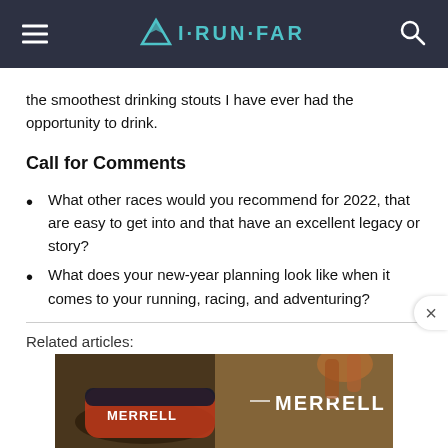I·RUN·FAR
the smoothest drinking stouts I have ever had the opportunity to drink.
Call for Comments
What other races would you recommend for 2022, that are easy to get into and that have an excellent legacy or story?
What does your new-year planning look like when it comes to your running, racing, and adventuring?
Related articles:
[Figure (photo): Merrell shoe advertisement banner showing trail running shoes and a runner on dirt trail, with MERRELL branding in white text.]